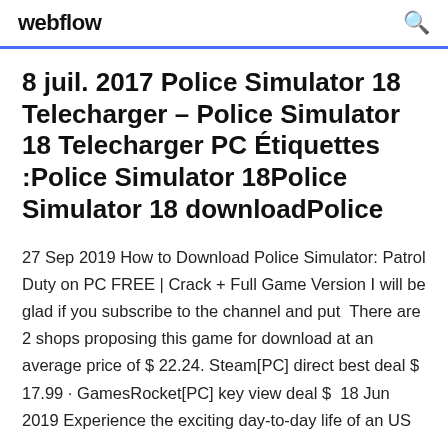webflow
8 juil. 2017 Police Simulator 18 Telecharger – Police Simulator 18 Telecharger PC Étiquettes :Police Simulator 18Police Simulator 18 downloadPolice
27 Sep 2019 How to Download Police Simulator: Patrol Duty on PC FREE | Crack + Full Game Version I will be glad if you subscribe to the channel and put  There are 2 shops proposing this game for download at an average price of $ 22.24. Steam[PC] direct best deal $ 17.99 · GamesRocket[PC] key view deal $  18 Jun 2019 Experience the exciting day-to-day life of an US